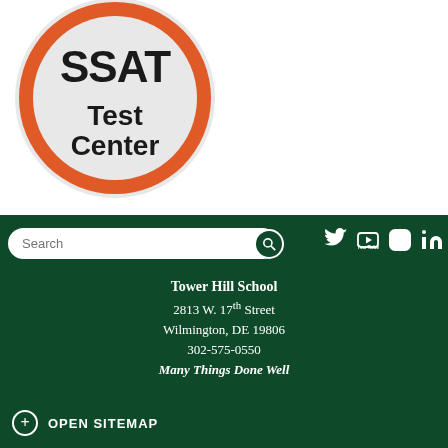[Figure (logo): SSAT Test Center circular badge logo with orange border and dark text on light gray background]
[Figure (screenshot): Website footer section with dark green background containing search bar, social media icons (Twitter, YouTube, Instagram, LinkedIn), Tower Hill School address, and Open Sitemap button]
Tower Hill School
2813 W. 17th Street
Wilmington, DE 19806
302-575-0550
Many Things Done Well
OPEN SITEMAP